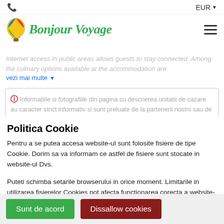EUR
[Figure (logo): Bonjour Voyage logo with hot air balloon and stylized green cursive text]
Internet access in public areas allows guests to stay connected. Among the culinary options available at the accommodation are
vezi mai multe
Informatiile si fotografiile din pagina cu descrierea unitatii de cazare au caracter strict informativ si sunt preluate de la partenerii nostrii sau de pe site-urile de prezentare ale acestora. Pozele de pe site sunt generice si nu pot fi considerate contractuale, ele reprezinta efortul nostru permanent de a oferi informatii despre aceste locatii. Va rugam sa consultati site-urile oficiale ale unitatilor de cazare sau sa cereti informatii actualizate agentiei noastre.
Politica Cookie
Pentru a se putea accesa website-ul sunt folosite fisiere de tipe Cookie. Dorim sa va informam ce astfel de fisiere sunt stocate in website-ul Dvs.
Puteti schimba setarile browserului in orice moment. Limitarile in utilizarea fisierelor Cookies pot afecta functionarea corecta a website-ului.
Sunt de acord
Dissallow cookies